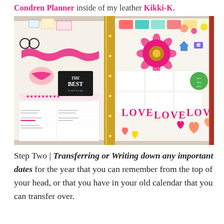Condren Planner inside of my leather Kikki-K.
[Figure (photo): Close-up photograph of a decorative planner open with colorful stickers, hearts, 'LOVE LOVE LOVE' text, scheduling grids, and a gold metal binder spine, placed inside a leather planner cover.]
Step Two | Transferring or Writing down any important dates for the year that you can remember from the top of your head, or that you have in your old calendar that you can transfer over.